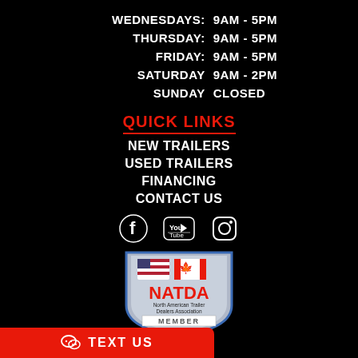| Day | Hours |
| --- | --- |
| WEDNESDAYS: | 9AM - 5PM |
| THURSDAY: | 9AM - 5PM |
| FRIDAY: | 9AM - 5PM |
| SATURDAY | 9AM - 2PM |
| SUNDAY | CLOSED |
QUICK LINKS
NEW TRAILERS
USED TRAILERS
FINANCING
CONTACT US
[Figure (logo): Social media icons: Facebook, YouTube, Instagram]
[Figure (logo): NATDA North American Trailer Dealers Association MEMBER 2019 badge/shield]
TEXT US